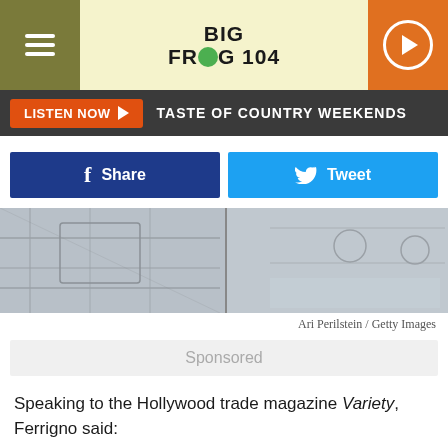Big Frog 104
LISTEN NOW ▶  TASTE OF COUNTRY WEEKENDS
[Figure (photo): Grayscale photo, partial view of cars or vehicles in a parking lot or similar setting]
Ari Perilstein / Getty Images
Sponsored
Speaking to the Hollywood trade magazine Variety, Ferrigno said:
"Most people are surprised that I've never really entered the horror space before now. When I was a kid I was fascinated with the monsters of the time